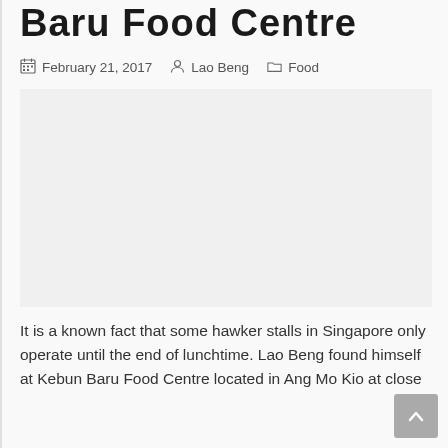Baru Food Centre
February 21, 2017   Lao Beng   Food
[Figure (photo): Photo placeholder area for Baru Food Centre article image]
It is a known fact that some hawker stalls in Singapore only operate until the end of lunchtime. Lao Beng found himself at Kebun Baru Food Centre located in Ang Mo Kio at close